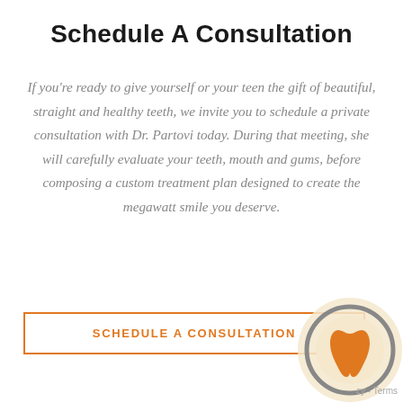Schedule A Consultation
If you're ready to give yourself or your teen the gift of beautiful, straight and healthy teeth, we invite you to schedule a private consultation with Dr. Partovi today. During that meeting, she will carefully evaluate your teeth, mouth and gums, before composing a custom treatment plan designed to create the megawatt smile you deserve.
SCHEDULE A CONSULTATION
[Figure (logo): Circular dental logo with orange tooth graphic on cream/beige background with grey ring border]
cy - Terms